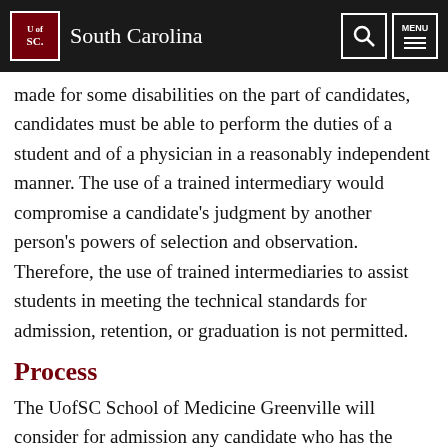South Carolina
made for some disabilities on the part of candidates, candidates must be able to perform the duties of a student and of a physician in a reasonably independent manner. The use of a trained intermediary would compromise a candidate's judgment by another person's powers of selection and observation. Therefore, the use of trained intermediaries to assist students in meeting the technical standards for admission, retention, or graduation is not permitted.
Process
The UofSC School of Medicine Greenville will consider for admission any candidate who has the ability to perform or to learn to perform the skills and abilities specified in these technical standards. Conditions for the MD degree will be